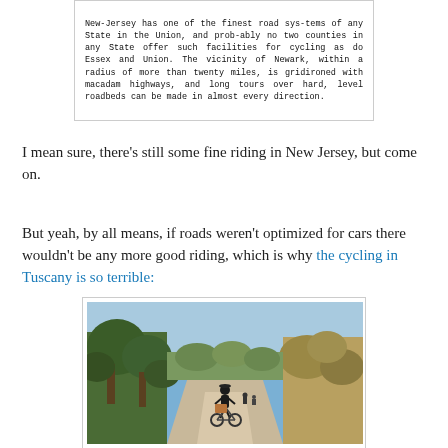[Figure (screenshot): Scanned newspaper/book text excerpt about New Jersey road systems and cycling facilities in Essex and Union counties, and the vicinity of Newark.]
I mean sure, there's still some fine riding in New Jersey, but come on.
But yeah, by all means, if roads weren't optimized for cars there wouldn't be any more good riding, which is why the cycling in Tuscany is so terrible:
[Figure (photo): A photograph of a person riding a bicycle on a dirt/gravel road in Tuscany, surrounded by trees and dry scrubby vegetation under a blue sky.]